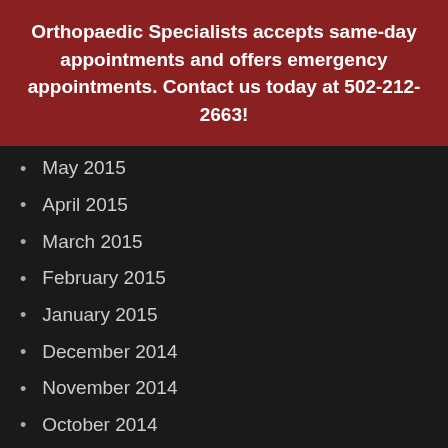Orthopaedic Specialists accepts same-day appointments and offers emergency appointments. Contact us today at 502-212-2663!
May 2015
April 2015
March 2015
February 2015
January 2015
December 2014
November 2014
October 2014
September 2014
August 2014
July 2014
June 2014
May 2014
April 2014
March 2014
February 2014